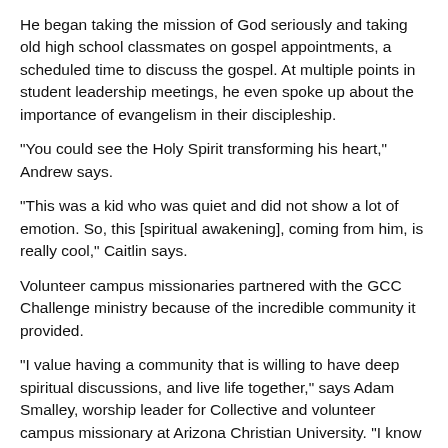He began taking the mission of God seriously and taking old high school classmates on gospel appointments, a scheduled time to discuss the gospel. At multiple points in student leadership meetings, he even spoke up about the importance of evangelism in their discipleship.
“You could see the Holy Spirit transforming his heart,” Andrew says.
“This was a kid who was quiet and did not show a lot of emotion. So, this [spiritual awakening], coming from him, is really cool,” Caitlin says.
Volunteer campus missionaries partnered with the GCC Challenge ministry because of the incredible community it provided.
“I value having a community that is willing to have deep spiritual discussions, and live life together,” says Adam Smalley, worship leader for Collective and volunteer campus missionary at Arizona Christian University. “I know growing up for me, I didn’t have a whole lot of that, so finding that as a young adult really helped me grow my faith stronger.”
GCC Challenge witnessed God’s power throughout the COVID